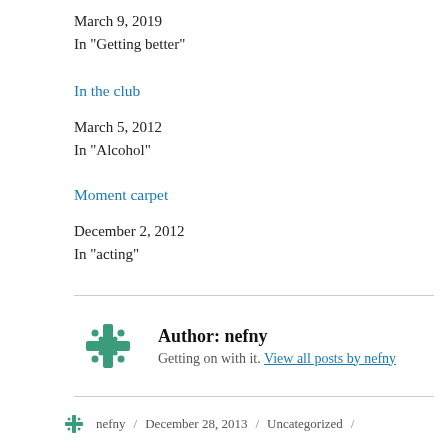March 9, 2019
In "Getting better"
In the club
March 5, 2012
In "Alcohol"
Moment carpet
December 2, 2012
In "acting"
Author: nefny
Getting on with it. View all posts by nefny
nefny / December 28, 2013 / Uncategorized /